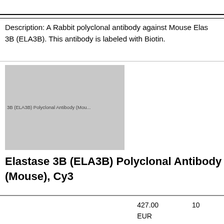Description: A Rabbit polyclonal antibody against Mouse Elastase 3B (ELA3B). This antibody is labeled with Biotin.
[Figure (photo): Grayscale product image placeholder for ELA3B Polyclonal Antibody (Mouse)]
Elastase 3B (ELA3B) Polyclonal Antibody (Mouse), Cy3
| Catalog | Brand | Price | Qty |
| --- | --- | --- | --- |
| 4-PAE212Mu01-Cy3 | Cloud-Clone | 427.00 EUR
4445.00 EUR
1205.00 EUR
557.00 EUR | 10
10
1m
20
20 |